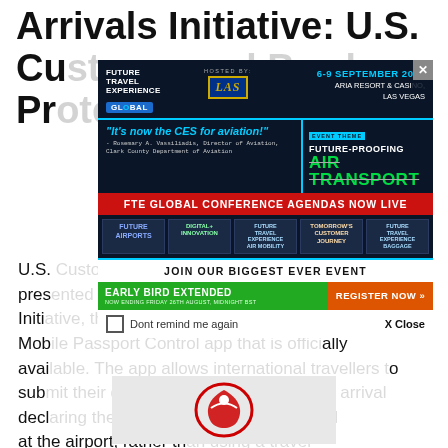Arrivals Initiative: U.S. Customs and Border Protection
U.S. Customs and Border Protection (CBP) has presented the Simplified Arrival Initiative, the first Mobile Passport Control app that is officially available. The app allows international travellers to submit their declaration information before arrival declaring themselves upon physical arrival at the airport, rather than using a travel agent to submit the information on their behalf. Once the information has been submitted via the app, the traveller receives a QR code, which is then presented directly to the document verification officer.
[Figure (screenshot): Advertisement modal popup for Future Travel Experience Global conference, 6-9 September 2022, Aria Resort & Casino, Las Vegas. Hosted by LAS. Event theme: Future-Proofing Air Transport. FTE Global Conference Agendas Now Live. Join Our Biggest Ever Event. Early Bird Extended - Now Ending Friday 26th August, Midnight BST. Register Now. Quote: It's now the CES for aviation! - Rosemary A. Vassiliadis, Director of Aviation, Clark County Department of Aviation. Don't remind me again / X Close.]
[Figure (logo): Japan Airlines (JAL) logo - red crane symbol at bottom of page]